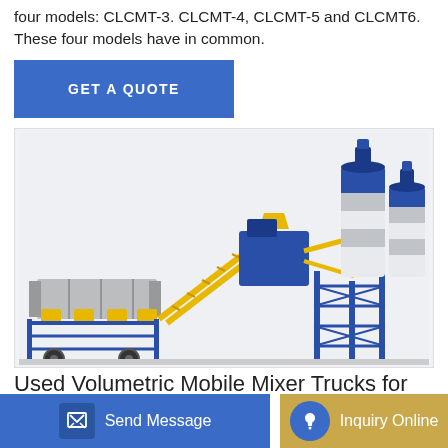four models: CLCMT-3. CLCMT-4, CLCMT-5 and CLCMT6. These four models have in common.
[Figure (other): Button labeled GET A QUOTE with blue background]
[Figure (photo): Industrial concrete batching plant machinery with blue steel frame, conveyor belts, yellow accents, and two large white/blue silos on the right side.]
Used Volumetric Mobile Mixer Trucks for
[Figure (other): Bottom navigation bar with blue 'Send Message' button on the left (with pencil/message icon) and golden/tan 'Inquiry Online' button on the right (with blue headset icon). Partial text visible: 'etric hy' and 'concrete mixer truck price in india. Manufacturer: Xinyu. List']